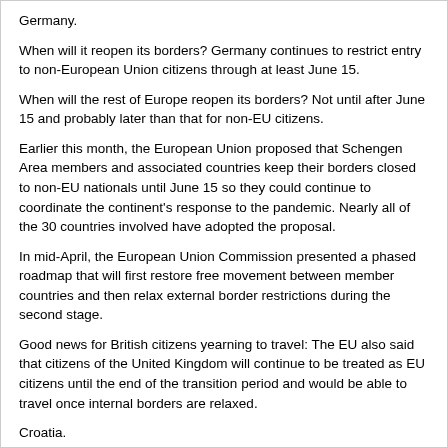Germany.
When will it reopen its borders? Germany continues to restrict entry to non-European Union citizens through at least June 15.
When will the rest of Europe reopen its borders? Not until after June 15 and probably later than that for non-EU citizens.
Earlier this month, the European Union proposed that Schengen Area members and associated countries keep their borders closed to non-EU nationals until June 15 so they could continue to coordinate the continent's response to the pandemic. Nearly all of the 30 countries involved have adopted the proposal.
In mid-April, the European Union Commission presented a phased roadmap that will first restore free movement between member countries and then relax external border restrictions during the second stage.
Good news for British citizens yearning to travel: The EU also said that citizens of the United Kingdom will continue to be treated as EU citizens until the end of the transition period and would be able to travel once internal borders are relaxed.
Croatia.
Much of Europe may not be welcoming Americans, but Croatia allows American tourists as of July 1.
"As of July 1, 2020, all EU / EEA nationals and individuals holding permanent residence in the EU / EEA countries can enter Croatia freely, without restrictions," according to the USA Embassy in Croatia. "All other foreign nationals, including USA Citizens, may enter Croatia for business, tourism, or other pressing personal reasons, if they provide relevant proof. ".
United Kingdom.
Beginning June 8, travelers can enter the UK, but they must provide contact